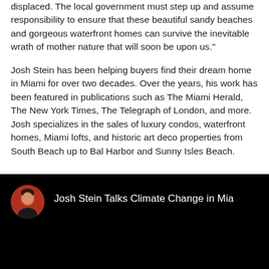displaced. The local government must step up and assume responsibility to ensure that these beautiful sandy beaches and gorgeous waterfront homes can survive the inevitable wrath of mother nature that will soon be upon us."
Josh Stein has been helping buyers find their dream home in Miami for over two decades. Over the years, his work has been featured in publications such as The Miami Herald, The New York Times, The Telegraph of London, and more. Josh specializes in the sales of luxury condos, waterfront homes, Miami lofts, and historic art deco properties from South Beach up to Bal Harbor and Sunny Isles Beach.
[Figure (screenshot): Video thumbnail screenshot with black background showing a circular avatar photo of Josh Stein on the left and the text 'Josh Stein Talks Climate Change in Mia' on the right in white.]